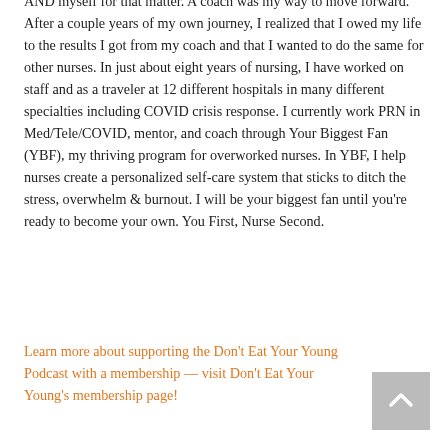AND myself for that matter. A coach was my way to move forward. After a couple years of my own journey, I realized that I owed my life to the results I got from my coach and that I wanted to do the same for other nurses. In just about eight years of nursing, I have worked on staff and as a traveler at 12 different hospitals in many different specialties including COVID crisis response. I currently work PRN in Med/Tele/COVID, mentor, and coach through Your Biggest Fan (YBF), my thriving program for overworked nurses. In YBF, I help nurses create a personalized self-care system that sticks to ditch the stress, overwhelm & burnout. I will be your biggest fan until you're ready to become your own. You First, Nurse Second.
Learn more about supporting the Don't Eat Your Young Podcast with a membership — visit Don't Eat Your Young's membership page!